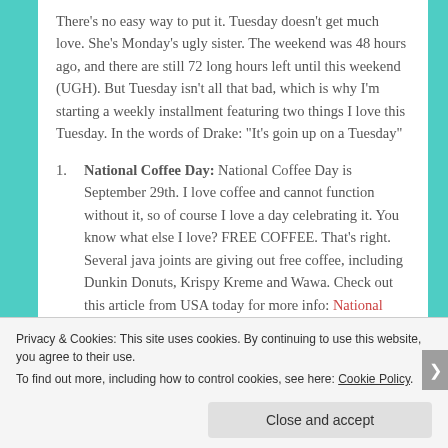There's no easy way to put it. Tuesday doesn't get much love. She's Monday's ugly sister. The weekend was 48 hours ago, and there are still 72 long hours left until this weekend (UGH). But Tuesday isn't all that bad, which is why I'm starting a weekly installment featuring two things I love this Tuesday. In the words of Drake: "It's goin up on a Tuesday"
National Coffee Day: National Coffee Day is September 29th. I love coffee and cannot function without it, so of course I love a day celebrating it. You know what else I love? FREE COFFEE. That's right. Several java joints are giving out free coffee, including Dunkin Donuts, Krispy Kreme and Wawa. Check out this article from USA today for more info: National Coffee Day Freebies
Privacy & Cookies: This site uses cookies. By continuing to use this website, you agree to their use. To find out more, including how to control cookies, see here: Cookie Policy. Close and accept